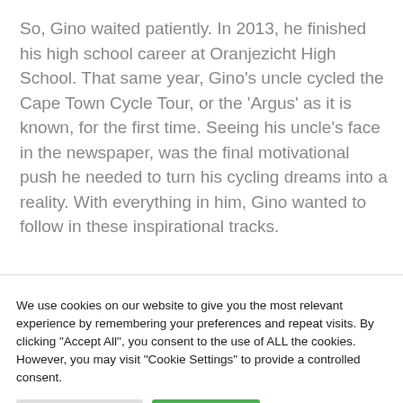So, Gino waited patiently. In 2013, he finished his high school career at Oranjezicht High School. That same year, Gino's uncle cycled the Cape Town Cycle Tour, or the 'Argus' as it is known, for the first time. Seeing his uncle's face in the newspaper, was the final motivational push he needed to turn his cycling dreams into a reality. With everything in him, Gino wanted to follow in these inspirational tracks.
We use cookies on our website to give you the most relevant experience by remembering your preferences and repeat visits. By clicking "Accept All", you consent to the use of ALL the cookies. However, you may visit "Cookie Settings" to provide a controlled consent.